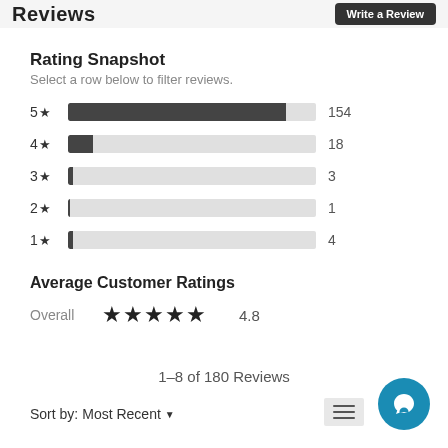Reviews | Write a Review
Rating Snapshot
Select a row below to filter reviews.
[Figure (bar-chart): Rating Snapshot]
Average Customer Ratings
Overall ★★★★★ 4.8
1–8 of 180 Reviews
Sort by: Most Recent ▼